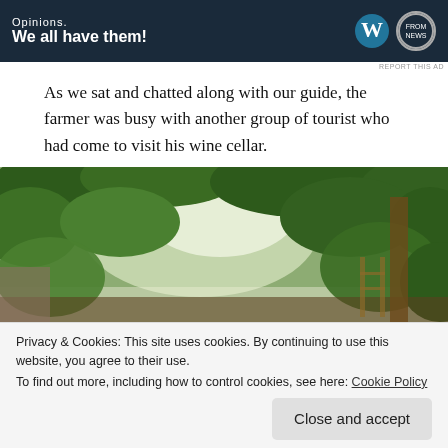[Figure (screenshot): Advertisement banner with dark navy background showing 'Opinions. We all have them!' text with WordPress and another logo]
As we sat and chatted along with our guide, the farmer was busy with another group of tourist who had come to visit his wine cellar.
[Figure (photo): Outdoor photograph of dense green vineyard foliage and leaves with bright light filtering through, with a wooden structure visible]
Privacy & Cookies: This site uses cookies. By continuing to use this website, you agree to their use. To find out more, including how to control cookies, see here: Cookie Policy
Close and accept